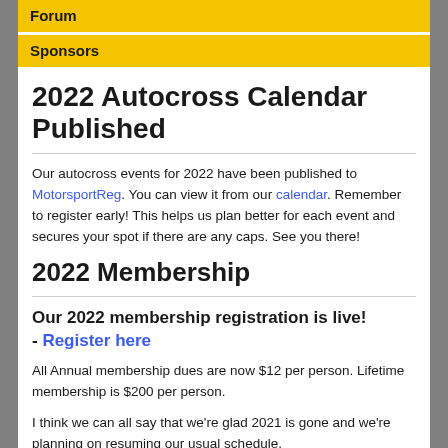Forum
Sponsors
2022 Autocross Calendar Published
Our autocross events for 2022 have been published to MotorsportReg. You can view it from our calendar. Remember to register early! This helps us plan better for each event and secures your spot if there are any caps. See you there!
2022 Membership
Our 2022 membership registration is live! - Register here
All Annual membership dues are now $12 per person. Lifetime membership is $200 per person.
I think we can all say that we're glad 2021 is gone and we're planning on resuming our usual schedule.